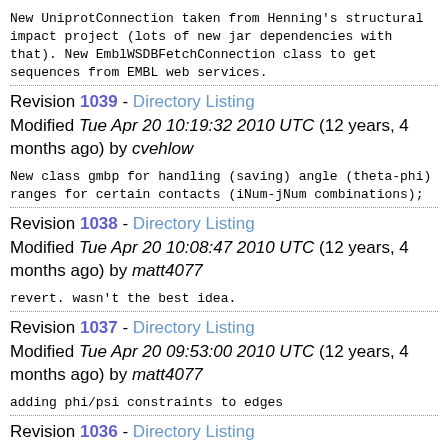New UniprotConnection taken from Henning's structural impact project (lots of new jar dependencies with that). New EmblWSDBFetchConnection class to get sequences from EMBL web services.
Revision 1039 - Directory Listing
Modified Tue Apr 20 10:19:32 2010 UTC (12 years, 4 months ago) by cvehlow
New class gmbp for handling (saving) angle (theta-phi) ranges for certain contacts (iNum-jNum combinations);
Revision 1038 - Directory Listing
Modified Tue Apr 20 10:08:47 2010 UTC (12 years, 4 months ago) by matt4077
revert. wasn't the best idea.
Revision 1037 - Directory Listing
Modified Tue Apr 20 09:53:00 2010 UTC (12 years, 4 months ago) by matt4077
adding phi/psi constraints to edges
Revision 1036 - Directory Listing
Modified Mon Apr 19 14:27:11 2010 UTC (12 years, 4 months ago) by jmduarteg